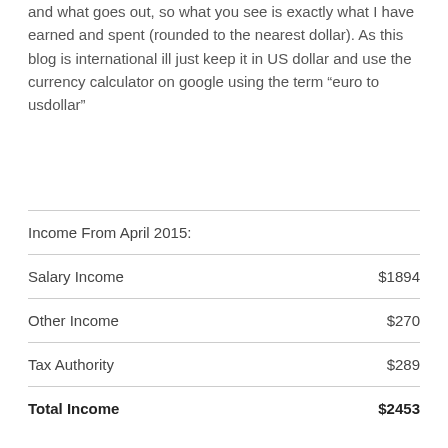and what goes out, so what you see is exactly what I have earned and spent (rounded to the nearest dollar). As this blog is international ill just keep it in US dollar and use the currency calculator on google using the term "euro to usdollar"
|  |  |
| --- | --- |
| Income From April 2015: |  |
| Salary Income | $1894 |
| Other Income | $270 |
| Tax Authority | $289 |
| Total Income | $2453 |